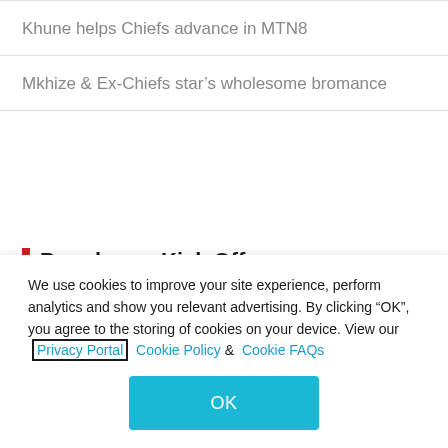Khune helps Chiefs advance in MTN8
Mkhize & Ex-Chiefs star's wholesome bromance
Popular on Kick Off
[Figure (screenshot): Partial view of image thumbnails for popular articles]
We use cookies to improve your site experience, perform analytics and show you relevant advertising. By clicking "OK", you agree to the storing of cookies on your device. View our Privacy Portal  Cookie Policy &  Cookie FAQs
OK